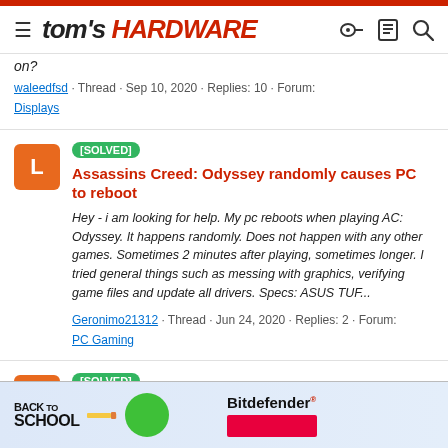tom's HARDWARE
on?
waleedfsd · Thread · Sep 10, 2020 · Replies: 10 · Forum: Displays
[SOLVED] Assassins Creed: Odyssey randomly causes PC to reboot
Hey - i am looking for help. My pc reboots when playing AC: Odyssey. It happens randomly. Does not happen with any other games. Sometimes 2 minutes after playing, sometimes longer. I tried general things such as messing with graphics, verifying game files and update all drivers. Specs: ASUS TUF...
Geronimo21312 · Thread · Jun 24, 2020 · Replies: 2 · Forum: PC Gaming
[SOLVED] Any tips and improvements is much appreciated: https://pcpartpicker.com/list/yqBjK4
[Figure (screenshot): Back to School and Bitdefender advertisement banner at the bottom of the page]